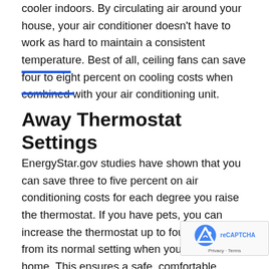cooler indoors. By circulating air around your house, your air conditioner doesn't have to work as hard to maintain a consistent temperature. Best of all, ceiling fans can save four to eight percent on cooling costs when combined with your air conditioning unit.
Away Thermostat Settings
EnergyStar.gov studies have shown that you can save three to five percent on air conditioning costs for each degree you raise the thermostat. If you have pets, you can increase the thermostat up to four degrees from its normal setting when you're away from home. This ensures a safe, comfortable environment for your furry family members. If you have indoor plants, but no pets, you can safely increase your thermostat to a high of 85 degrees. Using a programmable thermostat, you can set it to run six degrees warmer settings. This is the best...